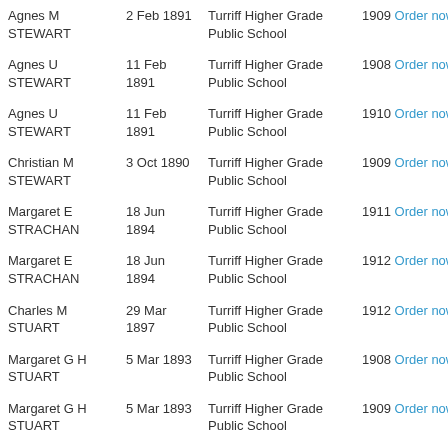| Name | Date | School | Year / Order |
| --- | --- | --- | --- |
| Agnes M STEWART | 2 Feb 1891 | Turriff Higher Grade Public School | 1909 Order now |
| Agnes U STEWART | 11 Feb 1891 | Turriff Higher Grade Public School | 1908 Order now |
| Agnes U STEWART | 11 Feb 1891 | Turriff Higher Grade Public School | 1910 Order now |
| Christian M STEWART | 3 Oct 1890 | Turriff Higher Grade Public School | 1909 Order now |
| Margaret E STRACHAN | 18 Jun 1894 | Turriff Higher Grade Public School | 1911 Order now |
| Margaret E STRACHAN | 18 Jun 1894 | Turriff Higher Grade Public School | 1912 Order now |
| Charles M STUART | 29 Mar 1897 | Turriff Higher Grade Public School | 1912 Order now |
| Margaret G H STUART | 5 Mar 1893 | Turriff Higher Grade Public School | 1908 Order now |
| Margaret G H STUART | 5 Mar 1893 | Turriff Higher Grade Public School | 1909 Order now |
| Margaret G H | 5 Mar | Turriff Higher Grade | 1910 Order now |